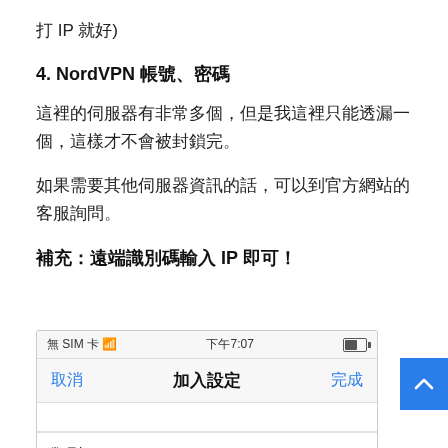打 IP 就好)
4. NordVPN 帳號、密碼
這裡的伺服器有非常多個，但是我這裡只能透漏一個，這樣才不會被封鎖完。
如果需要其他伺服器資訊的話，可以到官方網站的客服詢問。
補充：遠端識別碼輸入 IP 即可！
[Figure (screenshot): iOS phone screenshot showing VPN configuration screen with status bar (無 SIM 卡, 下午7:07), navigation bar with 取消 and 完成 buttons, title 加入設定, and a table row showing 類型 with value IKEv2 >]